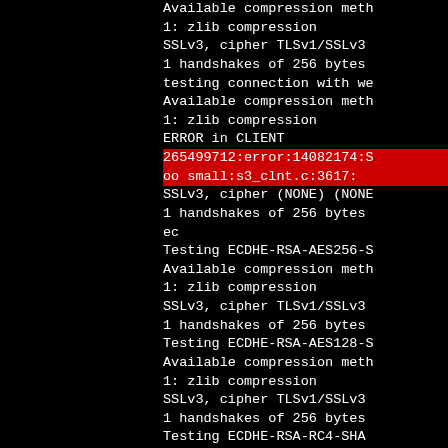[Figure (screenshot): Terminal output showing SSL/TLS cipher testing with a red-highlighted error line. Left portion of page is black (cropped). Right portion shows monospace terminal text on black background. Lines include: 'Available compression meth', '1: zlib compression', 'SSLv3, cipher TLSv1/SSLv3', '1 handshakes of 256 bytes', 'testing connection with we', 'Available compression meth', '1: zlib compression', 'ERROR in CLIENT', then two red-highlighted error lines '265499712:error:14082174:S' and 'oo small:s3_clnt.c:3617:', followed by more white text lines about SSLv3, cipher (NONE), handshakes, ec, Testing ECDHE-RSA-AES256, Available compression meth, zlib compression, SSLv3 TLSv1, handshakes, Testing ECDHE-RSA-AES128, Available compression meth, zlib, SSLv3 TLSv1, handshakes, Testing ECDHE-RSA-RC4-SHA.]